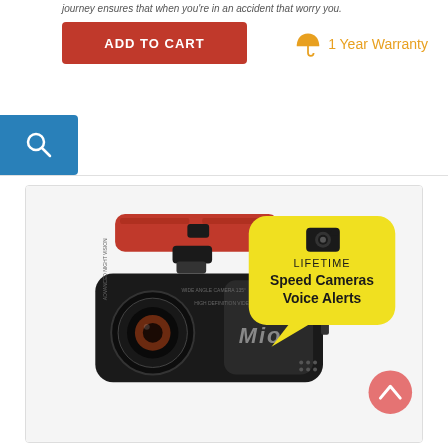journey ensures that when you're in an accident that worry you.
ADD TO CART
1 Year Warranty
[Figure (photo): Mio dashcam with red mount bracket, showing a yellow speech bubble with camera icon and text 'LIFETIME Speed Cameras Voice Alerts'. The dashcam body shows the Mio logo.]